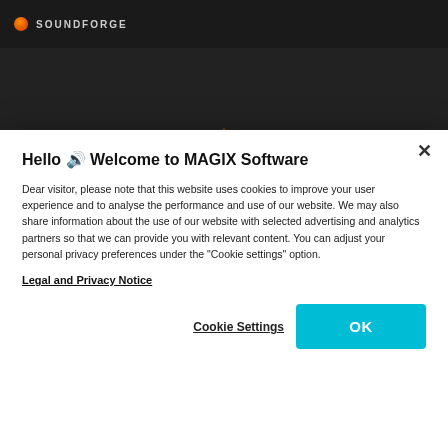[Figure (screenshot): SOUNDFORGE software application dark background with orange logo and top navigation bar]
Hello 🔊 Welcome to MAGIX Software
Dear visitor, please note that this website uses cookies to improve your user experience and to analyse the performance and use of our website. We may also share information about the use of our website with selected advertising and analytics partners so that we can provide you with relevant content. You can adjust your personal privacy preferences under the "Cookie settings" option.
Legal and Privacy Notice
Cookie Settings
OK
Alternatively, you can try out the program for yourself. This is recommended if you already have some experience with recording.